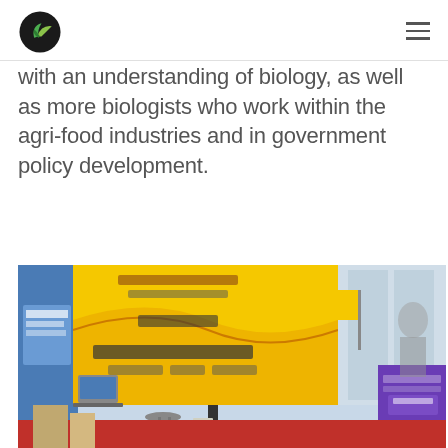with an understanding of biology, as well as more biologists who work within the agri-food industries and in government policy development.
[Figure (photo): Exhibition booth at an agricultural/food industry event, featuring a large yellow banner reading 'Stock up for the future - Childhood, Now, Future' with CEUK and Aberystwyth University logos. Display tables with materials, laptops, and a purple tablecloth in the foreground.]